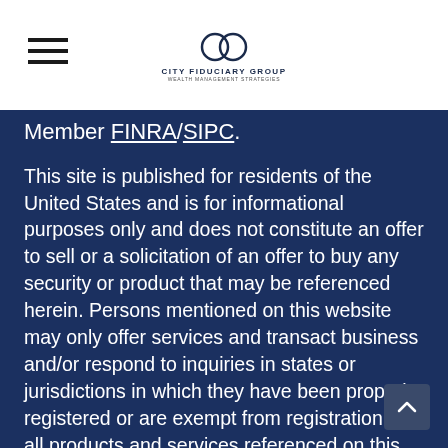City Fiduciary Group
Member FINRA/SIPC.
This site is published for residents of the United States and is for informational purposes only and does not constitute an offer to sell or a solicitation of an offer to buy any security or product that may be referenced herein. Persons mentioned on this website may only offer services and transact business and/or respond to inquiries in states or jurisdictions in which they have been properly registered or are exempt from registration. Not all products and services referenced on this site are available in every state, jurisdiction or from every person listed.